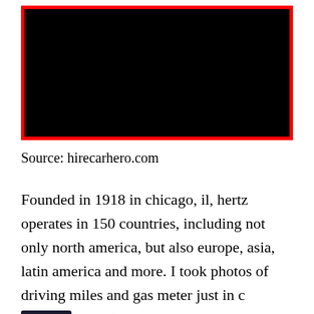[Figure (photo): Black image with red border, appears to be a video or image placeholder with a red rectangular frame.]
Source: hirecarhero.com
Founded in 1918 in chicago, il, hertz operates in 150 countries, including not only north america, but also europe, asia, latin america and more. I took photos of driving miles and gas meter just in c[CLOSE X]i didn♦t need to